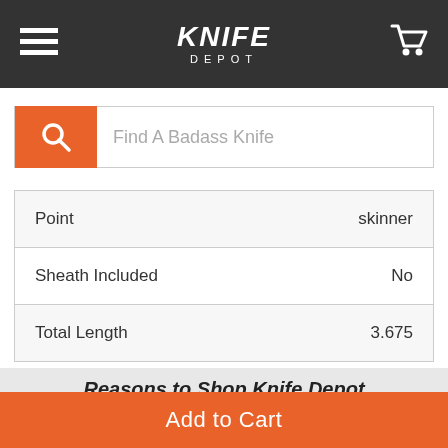Knife Depot
Find A Badass Knife
| Point | skinner |
| Sheath Included | No |
| Total Length | 3.675 |
Reasons to Shop Knife Depot
[Figure (illustration): Fast shipping truck icon]
Add to Cart